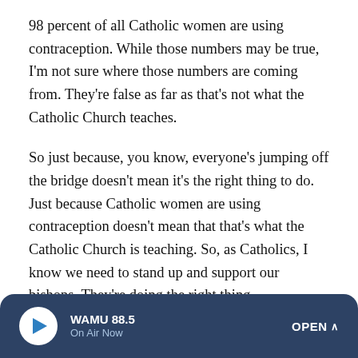98 percent of all Catholic women are using contraception. While those numbers may be true, I'm not sure where those numbers are coming from. They're false as far as that's not what the Catholic Church teaches.
So just because, you know, everyone's jumping off the bridge doesn't mean it's the right thing to do. Just because Catholic women are using contraception doesn't mean that that's what the Catholic Church is teaching. So, as Catholics, I know we need to stand up and support our bishops. They're doing the right thing.
And your guest was talking about consciences, women must do what's best for her and her family and consciences, and that is really what is...
WAMU 88.5 · On Air Now · OPEN